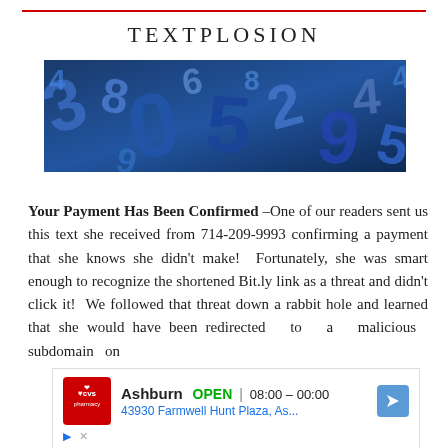TEXTPLOSION
[Figure (photo): Banner image showing scattered 3D blue numbers on a dark blue background — a jumble of digits including 0, 5, 3, 4, 8, 9, 6 etc.]
Your Payment Has Been Confirmed –One of our readers sent us this text she received from 714-209-9993 confirming a payment that she knows she didn't make! Fortunately, she was smart enough to recognize the shortened Bit.ly link as a threat and didn't click it! We followed that threat down a rabbit hole and learned that she would have been redirected to a malicious subdomain on
[Figure (other): CVS Pharmacy advertisement showing store location in Ashburn, OPEN status, hours 08:00 – 00:00, address 43930 Farmwell Hunt Plaza, As..., with navigation arrow icon]